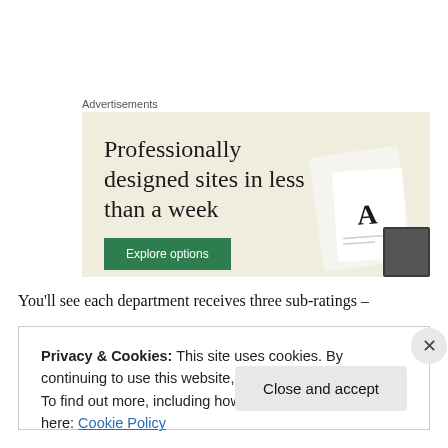Advertisements
[Figure (illustration): Advertisement banner with beige/cream background showing text 'Professionally designed sites in less than a week' with a green 'Explore options' button and decorative device mockups on the right side.]
You'll see each department receives three sub-ratings –
Privacy & Cookies: This site uses cookies. By continuing to use this website, you agree to their use.
To find out more, including how to control cookies, see here: Cookie Policy
Close and accept